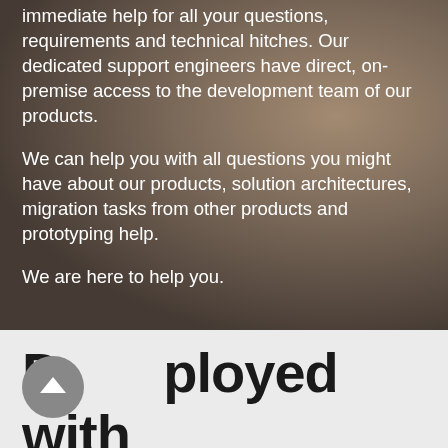Our high-end technical support guarantees immediate help for all your questions, requirements and technical hitches. Our dedicated support engineers have direct, on-premise access to the development team of our products.
We can help you with all questions you might have about our products, solution architectures, migration tasks from other products and prototyping help.
We are here to help you.
Deployed with millions of software